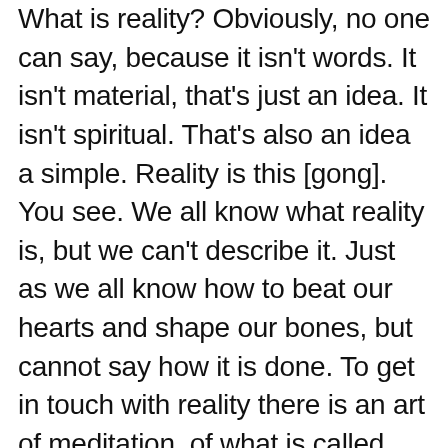What is reality? Obviously, no one can say, because it isn't words. It isn't material, that's just an idea. It isn't spiritual. That's also an idea a simple. Reality is this [gong]. You see. We all know what reality is, but we can't describe it. Just as we all know how to beat our hearts and shape our bones, but cannot say how it is done. To get in touch with reality there is an art of meditation, of what is called yoga in India, Chan in China and Zen in Japan. It is the art of temporarily silencing the mind. Of stopping the chatter in the skull. Of course, you can't force your mind to be silent. That will be like trying to smooth ripples in water over the flat iron. Water becomes clear and calm only when left alone.